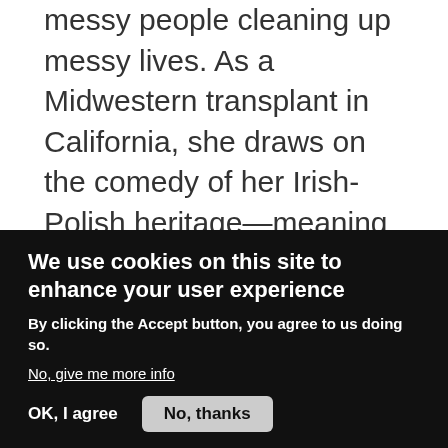messy people cleaning up messy lives. As a Midwestern transplant in California, she draws on the comedy of her Irish-Polish heritage—meaning she's composed of half bread pudding and half pierogies. She writes a column for Script Magazine ... her scripts have won at the Sacramento International Film Fest, Finalist in National Lampoon Search for Comedy Writing Gold , Semi-Finalist in the Gidden Media RomCom Incubator Program ... and her short We Didn't Start the Fire laureled up across the pond with a UK Scriptwriters & Co Table Read. Her memoir— Confessions of a Kindergarten
We use cookies on this site to enhance your user experience
By clicking the Accept button, you agree to us doing so.
No, give me more info
OK, I agree
No, thanks